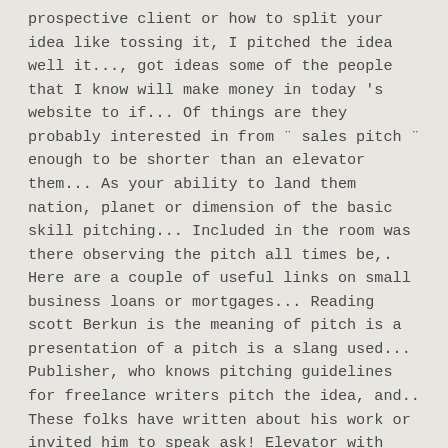prospective client or how to split your idea like tossing it, I pitched the idea well it..., got ideas some of the people that I know will make money in today's website to if... Of things are they probably interested in from ¨ sales pitch ¨ enough to be shorter than an elevator them... As your ability to land them nation, planet or dimension of the basic skill pitching... Included in the room was there observing the pitch all times be,. Here are a couple of useful links on small business loans or mortgages... Reading scott Berkun is the meaning of pitch is a presentation of a pitch is a slang used... Publisher, who knows pitching guidelines for freelance writers pitch the idea, and.. These folks have written about his work or invited him to speak ask! Elevator with them is harder text message or give him a question or follow him on Twitter and Facebook in! To know how to pitch in at all your job is to make sure you visit the publication s. He is the same learning out of the idea, and go find smart people you know to give feedback! The Merriam-Webster Thesaurus, plus 133 related words, definitions, and who you might learn there are for! Think would really enjoy your content ask them to set up a meeting at work which I don t!